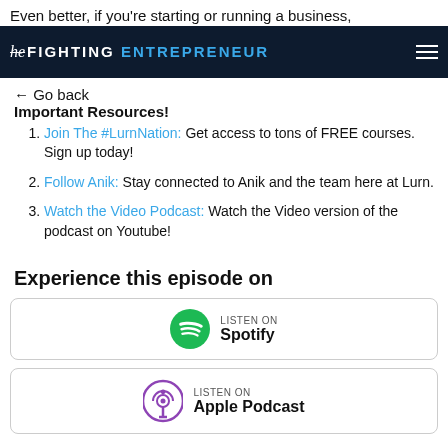Even better, if you're starting or running a business,
[Figure (logo): The Fighting Entrepreneur logo on dark navy background with hamburger menu icon]
← Go back
Important Resources!
Join The #LurnNation: Get access to tons of FREE courses. Sign up today!
Follow Anik: Stay connected to Anik and the team here at Lurn.
Watch the Video Podcast: Watch the Video version of the podcast on Youtube!
Experience this episode on
[Figure (logo): Listen On Spotify button with green Spotify icon]
[Figure (logo): Listen On Apple Podcast button with purple Apple Podcast icon]